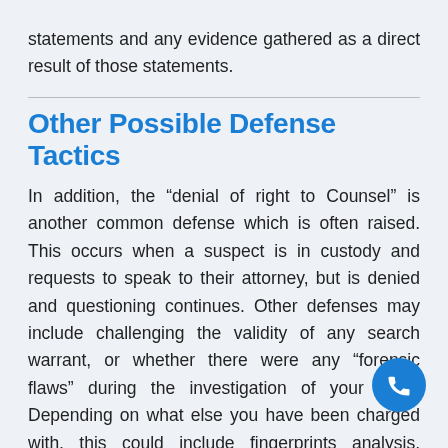statements and any evidence gathered as a direct result of those statements.
Other Possible Defense Tactics
In addition, the “denial of right to Counsel” is another common defense which is often raised. This occurs when a suspect is in custody and requests to speak to their attorney, but is denied and questioning continues. Other defenses may include challenging the validity of any search warrant, or whether there were any “forensic flaws” during the investigation of your case. Depending on what else you have been charged with, this could include fingerprints analysis, computer analysis/cloning hard drive procedures; forensic